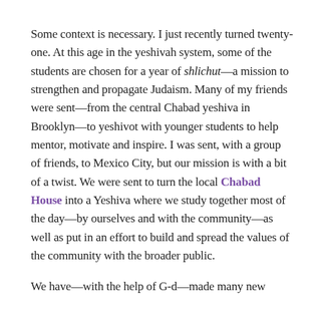Some context is necessary. I just recently turned twenty-one. At this age in the yeshivah system, some of the students are chosen for a year of shlichut—a mission to strengthen and propagate Judaism. Many of my friends were sent—from the central Chabad yeshiva in Brooklyn—to yeshivot with younger students to help mentor, motivate and inspire. I was sent, with a group of friends, to Mexico City, but our mission is with a bit of a twist. We were sent to turn the local Chabad House into a Yeshiva where we study together most of the day—by ourselves and with the community—as well as put in an effort to build and spread the values of the community with the broader public.
We have—with the help of G-d—made many new...